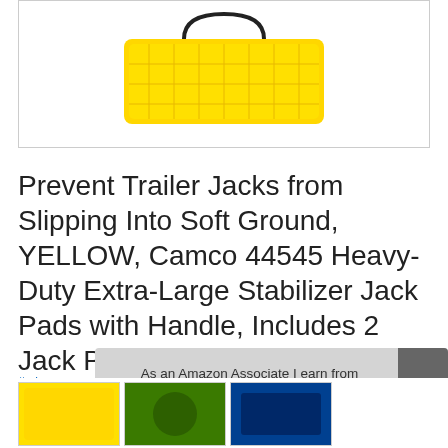[Figure (photo): Yellow heavy-duty stabilizer jack pad with handle, partially visible at top of page]
Prevent Trailer Jacks from Slipping Into Soft Ground, YELLOW, Camco 44545 Heavy-Duty Extra-Large Stabilizer Jack Pads with Handle, Includes 2 Jack Pads
#ad
As an Amazon Associate I earn from qualifying purchases. This website uses the only necessary cookies to ensure you get the best experience on our website. More information
[Figure (photo): Row of thumbnail product images at the bottom of the page]